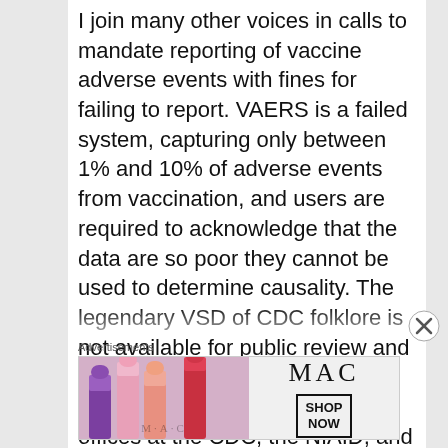I join many other voices in calls to mandate reporting of vaccine adverse events with fines for failing to report. VAERS is a failed system, capturing only between 1% and 10% of adverse events from vaccination, and users are required to acknowledge that the data are so poor they cannot be used to determine causality. The legendary VSD of CDC folklore is not available for public review and use. Professional obfuscationists currently inhabit high-ranking offices at the CDC, the NIAID, and the NIH. Their continued involvement in the areas of infectious disease, and public health insures that no reform
Advertisements
[Figure (other): M·A·C cosmetics advertisement banner showing lipsticks in purple, pink, and red colors with MAC logo and SHOP NOW button]